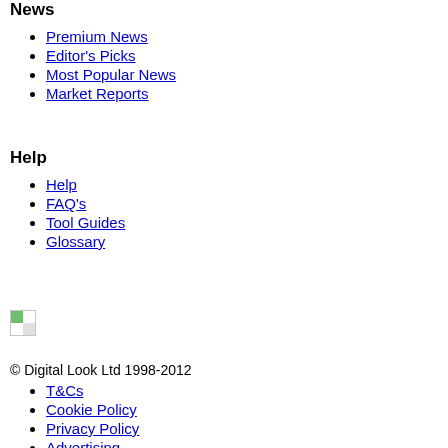News
Premium News
Editor's Picks
Most Popular News
Market Reports
Help
Help
FAQ's
Tool Guides
Glossary
[Figure (illustration): Small icon/image placeholder]
© Digital Look Ltd 1998-2012
T&Cs
Cookie Policy
Privacy Policy
Advertising